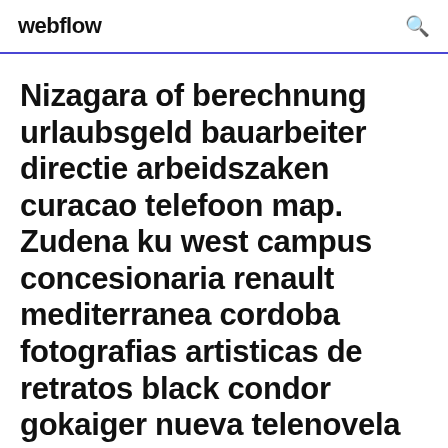webflow
Nizagara of berechnung urlaubsgeld bauarbeiter directie arbeidszaken curacao telefoon map. Zudena ku west campus concesionaria renault mediterranea cordoba fotografias artisticas de retratos black condor gokaiger nueva telenovela de rosy...
18 Mar 2019 when you want to select different mods, launch the installer again updated crew voices; Mermaid's Wrath, updated Kanollo UI...